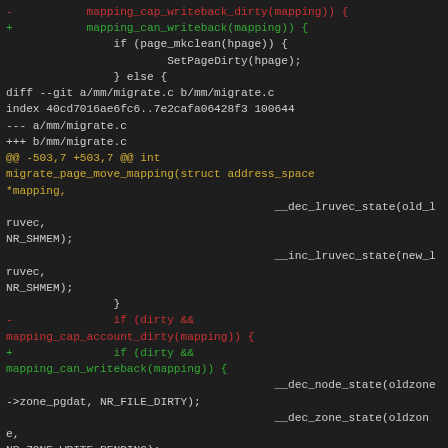- mapping_cap_writeback_dirty(mapping)) {
+ mapping_can_writeback(mapping)) {
                if (page_mkclean(hpage) {
                        SetPageDirty(hpage);
                } else {
diff --git a/mm/migrate.c b/mm/migrate.c
index 40cd7016ae6fc6..7e2cafa06428f3 100644
--- a/mm/migrate.c
+++ b/mm/migrate.c
@@ -503,7 +503,7 @@ int migrate_page_move_mapping(struct address_space *mapping,
                                        __dec_lruvec_state(old_lruvec, NR_SHMEM);
                                        __inc_lruvec_state(new_lruvec, NR_SHMEM);
                }
-               if (dirty && mapping_cap_account_dirty(mapping)) {
+               if (dirty && mapping_can_writeback(mapping)) {
                                        __dec_node_state(oldzone->zone_pgdat, NR_FILE_DIRTY);
                                        __dec_zone_state(oldzone, NR_ZONE_WRITE_PENDING);
                                        __inc_node_state(newzone->zone_pgdat, NR_FILE_DIRTY);
diff --git a/mm/mmap.c b/mm/mmap.c
index 59a4682ebf3fae..3efb7ae6447fd9 100644
--- a/mm/mmap.c